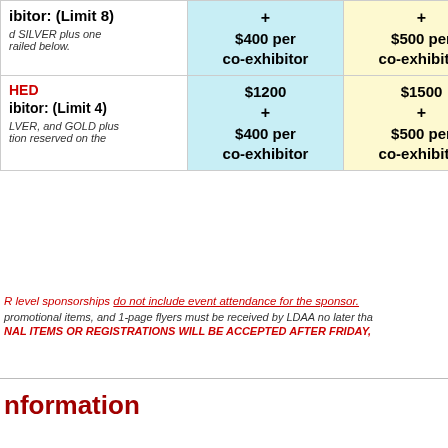|  | Early Bird | Regular |
| --- | --- | --- |
| ibitor: (Limit 8)
d SILVER plus one railed below. | + $400 per co-exhibitor | + $500 per co-exhibitor |
| HED
ibitor: (Limit 4)
LVER, and GOLD plus tion reserved on the | $1200 + $400 per co-exhibitor | $1500 + $500 per co-exhibitor |
R level sponsorships do not include event attendance for the sponsor.
promotional items, and 1-page flyers must be received by LDAA no later tha
NAL ITEMS OR REGISTRATIONS WILL BE ACCEPTED AFTER FRIDAY,
nformation